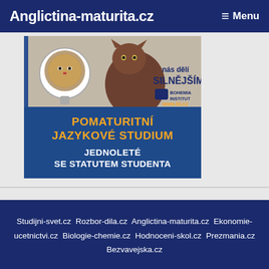Anglictina-maturita.cz  ≡ Menu
[Figure (illustration): Advertisement image showing a kitten looking in a mirror seeing a lion, with text 'nás dělí SILNĚJŠÍMI' and Bohemia Institut logo and www.bi.cz]
[Figure (infographic): Blue banner advertisement: POMATURITNÍ JAZYKOVÉ STUDIUM JEDNOLETÉ SE STATUTEM STUDENTA]
Studijni-svet.cz  Rozbor-dila.cz  Anglictina-maturita.cz  Ekonomie-ucetnictvi.cz  Biologie-chemie.cz  Hodnoceni-skol.cz  Prezmania.cz  Bezvavejska.cz